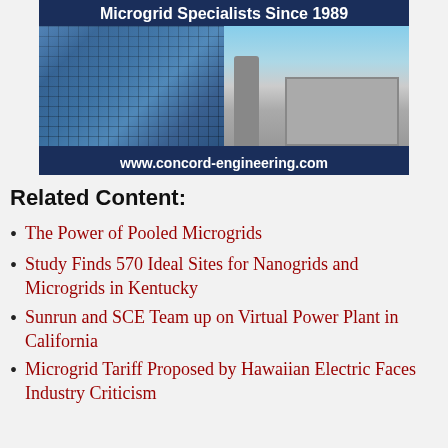[Figure (photo): Advertisement banner for Concord Engineering showing solar panels on left and industrial HVAC/cooling equipment on right, with text 'Microgrid Specialists Since 1989' at top and 'www.concord-engineering.com' at bottom, on dark navy blue background.]
Related Content:
The Power of Pooled Microgrids
Study Finds 570 Ideal Sites for Nanogrids and Microgrids in Kentucky
Sunrun and SCE Team up on Virtual Power Plant in California
Microgrid Tariff Proposed by Hawaiian Electric Faces Industry Criticism